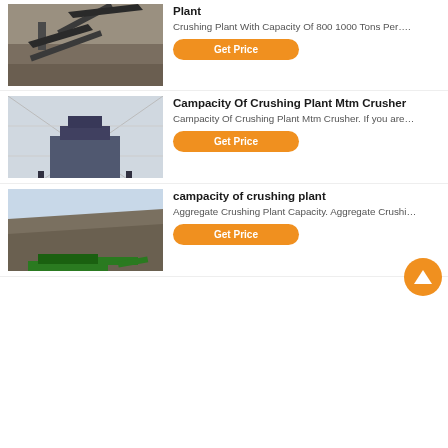Plant
Crushing Plant With Capacity Of 800 1000 Tons Per….
[Figure (photo): Outdoor crushing plant with conveyor belts on barren ground]
Get Price
Campacity Of Crushing Plant Mtm Crusher
Campacity Of Crushing Plant Mtm Crusher. If you are…
[Figure (photo): Indoor industrial crusher machine in a large warehouse facility]
Get Price
campacity of crushing plant
Aggregate Crushing Plant Capacity. Aggregate Crushi…
[Figure (photo): Mobile green aggregate crushing plant in an open quarry]
Get Price